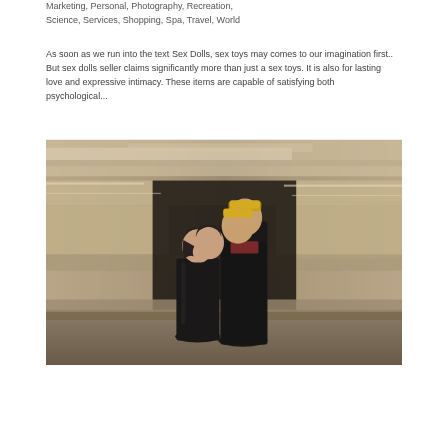Marketing, Personal, Photography, Recreation, Science, Services, Shopping, Spa, Travel, World
As soon as we run into the text Sex Dolls, sex toys may comes to our imagination first.. But sex dolls seller claims significantly more than just a sex toys. It is also for lasting love and expressive intimacy. These items are capable of satisfying both psychological...
[Figure (photo): A couple standing close together facing each other as if about to kiss, with a blurred train passing behind them in what appears to be a subway station. The man is taller with short hair wearing a dark jacket with red hood. The woman is shorter with short dark hair wearing a black leather jacket.]